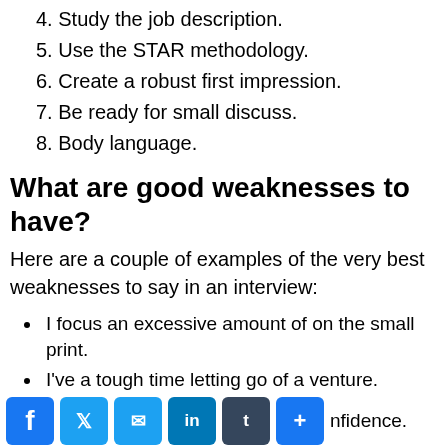4. Study the job description.
5. Use the STAR methodology.
6. Create a robust first impression.
7. Be ready for small discuss.
8. Body language.
What are good weaknesses to have?
Here are a couple of examples of the very best weaknesses to say in an interview:
I focus an excessive amount of on the small print.
I've a tough time letting go of a venture.
I've hassle saying “no.”
I get impatient when initiatives run past the deadline.
I lack confidence.
I can have hassle asking for assist.